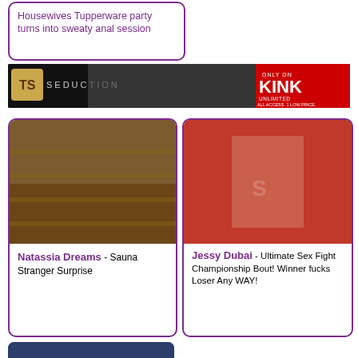Housewives Tupperware party turns into sweaty anal session
[Figure (photo): TS Seduction / Kink Unlimited banner advertisement]
[Figure (photo): Natassia Dreams - Sauna Stranger Surprise thumbnail]
Natassia Dreams - Sauna Stranger Surprise
[Figure (photo): Jessy Dubai - Ultimate Sex Fight Championship Bout! Winner fucks Loser Any WAY! thumbnail]
Jessy Dubai - Ultimate Sex Fight Championship Bout! Winner fucks Loser Any WAY!
[Figure (photo): Bottom partial thumbnail image]